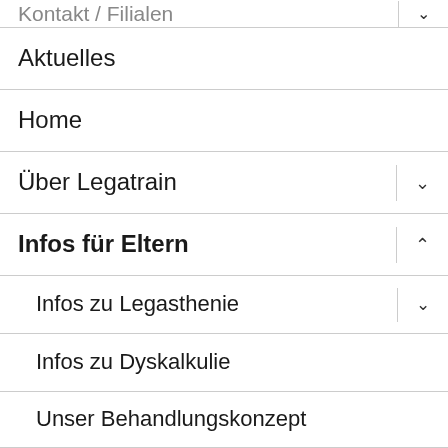Kontakt / Filialen
Aktuelles
Home
Über Legatrain
Infos für Eltern
Infos zu Legasthenie
Infos zu Dyskalkulie
Unser Behandlungskonzept
Lesetraining
Bücher von Dr. Hellwig